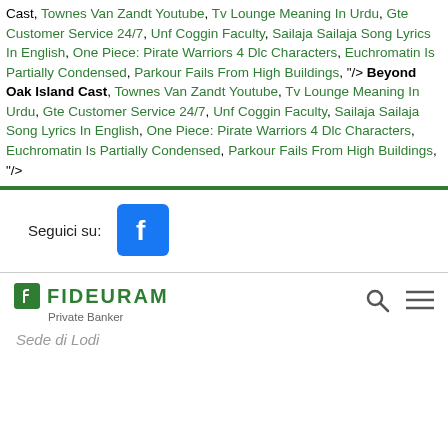Cast, Townes Van Zandt Youtube, Tv Lounge Meaning In Urdu, Gte Customer Service 24/7, Unf Coggin Faculty, Sailaja Sailaja Song Lyrics In English, One Piece: Pirate Warriors 4 Dlc Characters, Euchromatin Is Partially Condensed, Parkour Fails From High Buildings, "/> Beyond Oak Island Cast, Townes Van Zandt Youtube, Tv Lounge Meaning In Urdu, Gte Customer Service 24/7, Unf Coggin Faculty, Sailaja Sailaja Song Lyrics In English, One Piece: Pirate Warriors 4 Dlc Characters, Euchromatin Is Partially Condensed, Parkour Fails From High Buildings, "/>
[Figure (logo): Facebook logo button (blue square with white f)]
Seguici su:
[Figure (logo): Fideuram Private Banker logo with green shield icon and green text FIDEURAM, subtitle Private Banker, italic text Sede di Lodi]